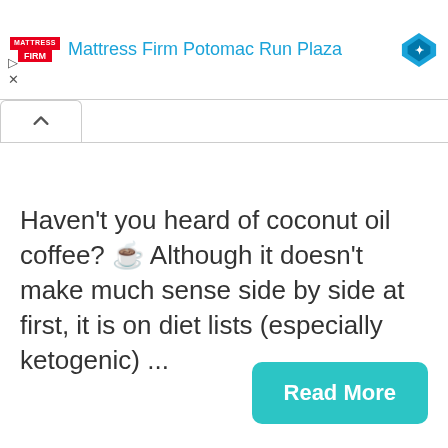[Figure (other): Mattress Firm advertisement banner with red logo, blue text 'Mattress Firm Potomac Run Plaza', and a blue diamond icon]
Haven't you heard of coconut oil coffee? ☕ Although it doesn't make much sense side by side at first, it is on diet lists (especially ketogenic) ...
Read More